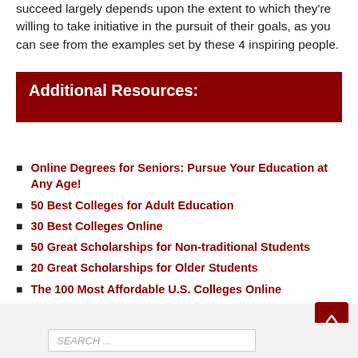succeed largely depends upon the extent to which they're willing to take initiative in the pursuit of their goals, as you can see from the examples set by these 4 inspiring people.
Additional Resources:
Online Degrees for Seniors: Pursue Your Education at Any Age!
50 Best Colleges for Adult Education
30 Best Colleges Online
50 Great Scholarships for Non-traditional Students
20 Great Scholarships for Older Students
The 100 Most Affordable U.S. Colleges Online
45 Top Free Tuition Scholarships for College (Receiving Public-Private Funding)
SEARCH ...